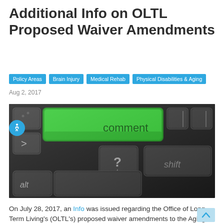Additional Info on OLTL Proposed Waiver Amendments
Policy Areas
Brain Injury
Medical Rehab
Physical Disabilities & Aging
Aug 2, 2017
[Figure (photo): Close-up photograph of a dark keyboard with a green highlighted key labeled 'comment', other visible keys include '?', 'alt', and 'shift']
On July 28, 2017, an Info was issued regarding the Office of Long-Term Living's (OLTL's) proposed waiver amendments to the Aging...